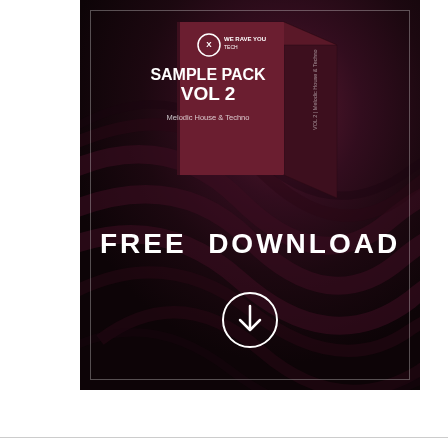[Figure (illustration): Advertisement banner for 'We Rave You Tech Sample Pack Vol 2 - Melodic House & Techno'. Dark purple/maroon background with silk-like swirling wave textures. A 3D product box is shown in the upper portion displaying the branding. Bold white text reads 'FREE DOWNLOAD' in the center-lower area. Below the text is a white circle with a downward arrow icon. A thin white inner border frames the entire banner.]